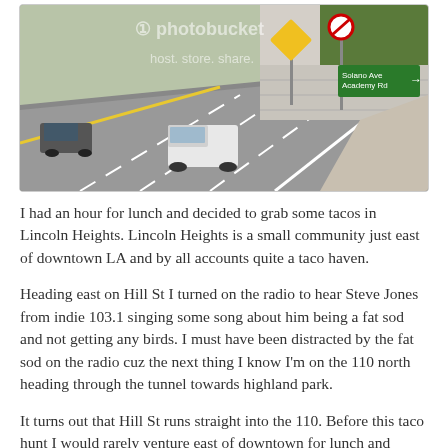[Figure (photo): A freeway scene showing multiple lanes with a white pickup truck and other vehicles. Road signs visible including a green highway sign reading 'Solano Ave Academy Rd' with a right arrow. Photobucket watermark overlay visible on the image.]
I had an hour for lunch and decided to grab some tacos in Lincoln Heights. Lincoln Heights is a small community just east of downtown LA and by all accounts quite a taco haven.
Heading east on Hill St I turned on the radio to hear Steve Jones from indie 103.1 singing some song about him being a fat sod and not getting any birds. I must have been distracted by the fat sod on the radio cuz the next thing I know I'm on the 110 north heading through the tunnel towards highland park.
It turns out that Hill St runs straight into the 110. Before this taco hunt I would rarely venture east of downtown for lunch and would usually stick to downtown eateries. I've come to